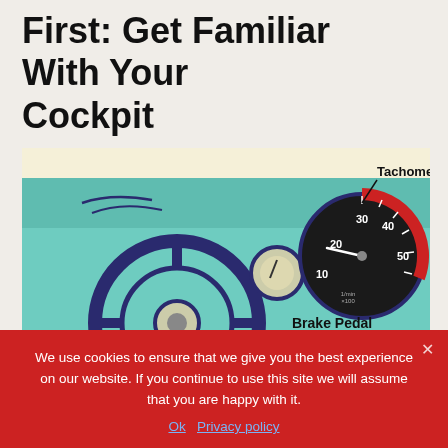First: Get Familiar With Your Cockpit
[Figure (illustration): Vintage cartoon illustration of a car cockpit/dashboard showing a steering wheel, tachometer gauge labeled with numbers 10-50, and labels for 'Tachometer', 'Brake Pedal', and 'Gas Pedal' on a cream/teal background]
We use cookies to ensure that we give you the best experience on our website. If you continue to use this site we will assume that you are happy with it.
Ok   Privacy policy